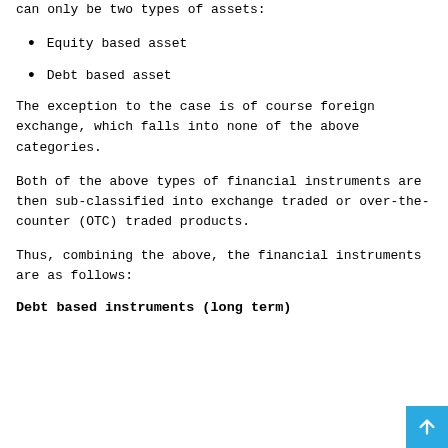can only be two types of assets:
Equity based asset
Debt based asset
The exception to the case is of course foreign exchange, which falls into none of the above categories.
Both of the above types of financial instruments are then sub-classified into exchange traded or over-the-counter (OTC) traded products.
Thus, combining the above, the financial instruments are as follows:
Debt based instruments (long term)